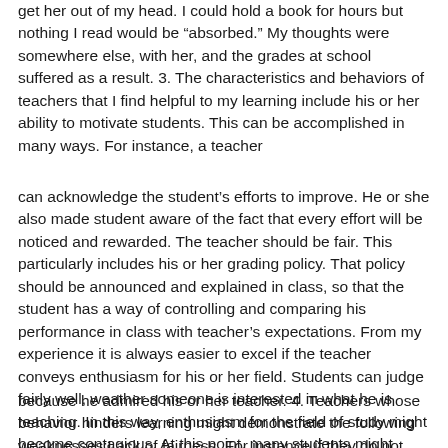get her out of my head. I could hold a book for hours but nothing I read would be “absorbed.” My thoughts were somewhere else, with her, and the grades at school suffered as a result. 3. The characteristics and behaviors of teachers that I find helpful to my learning include his or her ability to motivate students. This can be accomplished in many ways. For instance, a teacher
can acknowledge the student’s efforts to improve. He or she also made student aware of the fact that every effort will be noticed and rewarded. The teacher should be fair. This particularly includes his or her grading policy. That policy should be announced and explained in class, so that the student has a way of controlling and comparing his performance in class with teacher’s expectations. From my experience it is always easier to excel if the teacher conveys enthusiasm for his or her field. Students can judge fairly well, weather someone is interested in what he is teaching. In this way, enthusiasm for the field of study might become contagious. At this point, many students might discover their future professions. For instance someone might decide to become a teacher
because he admired his or her teacher. 4. Teachers whose behavior hinders learning might demonstrate the following weaknesses:Lack of fairness. For instance if they do not apply the same set of rules to